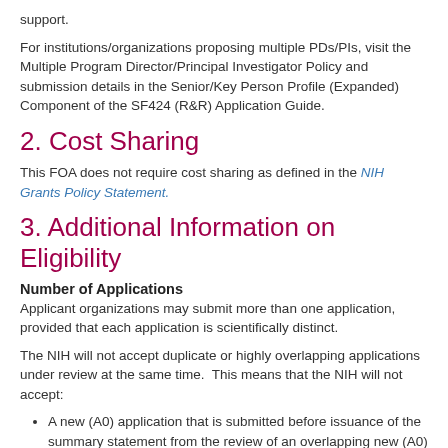support.
For institutions/organizations proposing multiple PDs/PIs, visit the Multiple Program Director/Principal Investigator Policy and submission details in the Senior/Key Person Profile (Expanded) Component of the SF424 (R&R) Application Guide.
2. Cost Sharing
This FOA does not require cost sharing as defined in the NIH Grants Policy Statement.
3. Additional Information on Eligibility
Number of Applications
Applicant organizations may submit more than one application, provided that each application is scientifically distinct.
The NIH will not accept duplicate or highly overlapping applications under review at the same time.  This means that the NIH will not accept:
A new (A0) application that is submitted before issuance of the summary statement from the review of an overlapping new (A0) or resubmission (A1) application.
A resubmission (A1) application that is submitted before